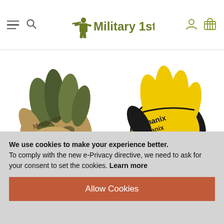Military 1st — navigation header with hamburger menu, search, logo, account and cart icons
[Figure (photo): Mechanix Wear camouflage/tan tactical glove (left product)]
[Figure (photo): Mechanix Wear yellow/black The Original glove (right product)]
Mechanix Wear The Original
Mechanix Wear The Original
We use cookies to make your experience better. To comply with the new e-Privacy directive, we need to ask for your consent to set the cookies. Learn more
Allow Cookies